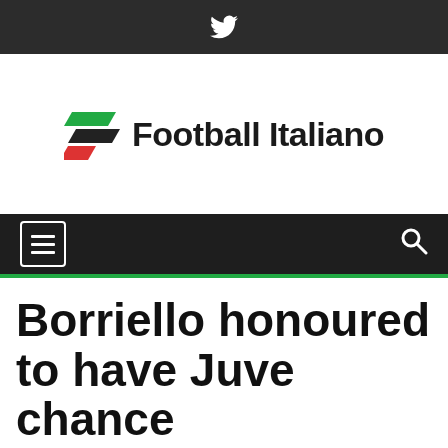Twitter icon (social bar)
[Figure (logo): Football Italiano logo with stylized F made of green, black, and red diagonal parallelogram shapes, followed by bold text 'Football Italiano']
Navigation bar with hamburger menu icon and search icon
Borriello honoured to have Juve chance
10th January 2012  Eurotips